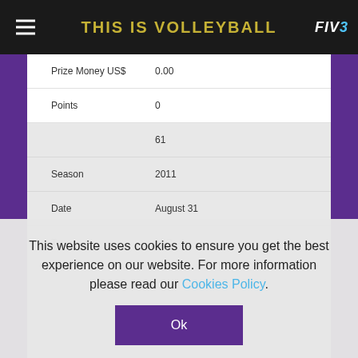THIS IS VOLLEYBALL
| Prize Money US$ | 0.00 |
| Points | 0 |
|  | 61 |
| Season | 2011 |
| Date | August 31 |
| Type | MIC |
This website uses cookies to ensure you get the best experience on our website. For more information please read our Cookies Policy.